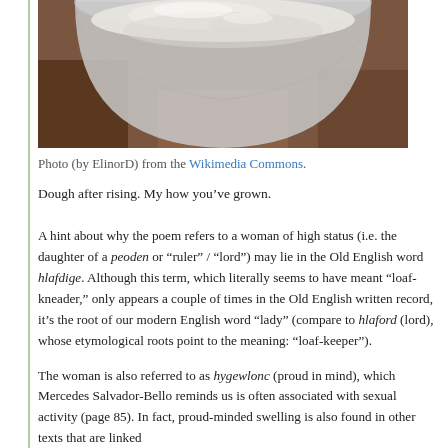[Figure (photo): A bowl of risen dough photographed from above on a brown surface, showing the top portion of the bowl with white dough visible]
Photo (by ElinorD) from the Wikimedia Commons.
Dough after rising. My how you’ve grown.
A hint about why the poem refers to a woman of high status (i.e. the daughter of a peoden or “ruler” / “lord”) may lie in the Old English word hlafdige. Although this term, which literally seems to have meant “loaf-kneader,” only appears a couple of times in the Old English written record, it’s the root of our modern English word “lady” (compare to hlaford (lord), whose etymological roots point to the meaning: “loaf-keeper”).
The woman is also referred to as hygewlonc (proud in mind), which Mercedes Salvador-Bello reminds us is often associated with sexual activity (page 85). In fact, proud-minded swelling is also found in other texts that are linked